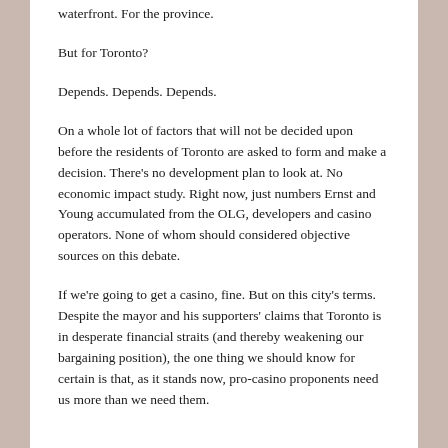waterfront. For the province.
But for Toronto?
Depends. Depends. Depends.
On a whole lot of factors that will not be decided upon before the residents of Toronto are asked to form and make a decision. There’s no development plan to look at. No economic impact study. Right now, just numbers Ernst and Young accumulated from the OLG, developers and casino operators. None of whom should considered objective sources on this debate.
If we’re going to get a casino, fine. But on this city’s terms. Despite the mayor and his supporters’ claims that Toronto is in desperate financial straits (and thereby weakening our bargaining position), the one thing we should know for certain is that, as it stands now, pro-casino proponents need us more than we need them.